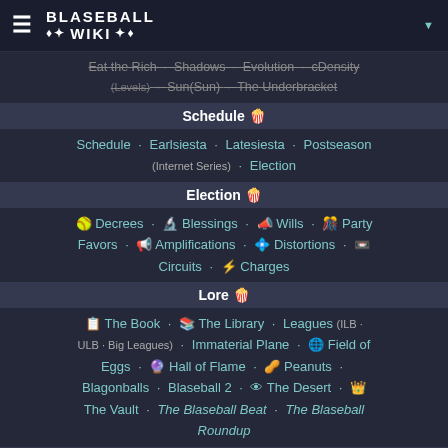BLASEBALL WIKI
Eat the Rich · Shadows · Evolution · cDensity (Levels) · Sun(Sun) · The Underbracket
Schedule 🍿
Schedule · Earlsiesta · Latesiesta · Postseason (Internet Series) · Election
Election 🍿
🥎 Decrees · 🔬 Blessings · 📣 Wills · 🎉 Party Favors · 📢 Amplifications · 💠 Distortions · 📼 Circuits · ⚡ Charges
Lore 🍿
📋 The Book · 📚 The Library · Leagues (ILB · ULB · Big Leagues) · Immaterial Plane · 🌐 Field of Eggs · 🔮 Hall of Flame · 🥜 Peanuts · Blagonballs · Blaseball 2 · 👁 The Desert · 👑 The Vault · The Blaseball Beat · The Blaseball Roundup
Entities 🍿
Players · Fans · Umpires · 🎩 The Commissioner · · The Ticker · 🎤 The Shelled One · 🦷 The